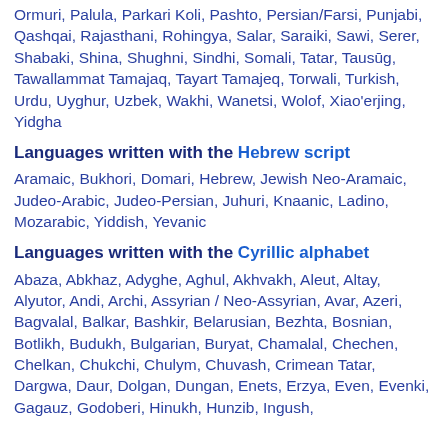Ormuri, Palula, Parkari Koli, Pashto, Persian/Farsi, Punjabi, Qashqai, Rajasthani, Rohingya, Salar, Saraiki, Sawi, Serer, Shabaki, Shina, Shughni, Sindhi, Somali, Tatar, Tausūg, Tawallammat Tamajaq, Tayart Tamajeq, Torwali, Turkish, Urdu, Uyghur, Uzbek, Wakhi, Wanetsi, Wolof, Xiao'erjing, Yidgha
Languages written with the Hebrew script
Aramaic, Bukhori, Domari, Hebrew, Jewish Neo-Aramaic, Judeo-Arabic, Judeo-Persian, Juhuri, Knaanic, Ladino, Mozarabic, Yiddish, Yevanic
Languages written with the Cyrillic alphabet
Abaza, Abkhaz, Adyghe, Aghul, Akhvakh, Aleut, Altay, Alyutor, Andi, Archi, Assyrian / Neo-Assyrian, Avar, Azeri, Bagvalal, Balkar, Bashkir, Belarusian, Bezhta, Bosnian, Botlikh, Budukh, Bulgarian, Buryat, Chamalal, Chechen, Chelkan, Chukchi, Chulym, Chuvash, Crimean Tatar, Dargwa, Daur, Dolgan, Dungan, Enets, Erzya, Even, Evenki, Gagauz, Godoberi, Hinukh, Hunzib, Ingush,